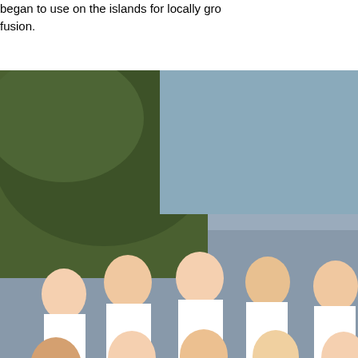began to use on the islands for locally gro... fusion.
[Figure (photo): Group photo of chefs in white uniforms posing outdoors on grass with palm trees and ocean in background]
Hali'imaile General Store.   It's located in ... of Makawao.   (see map)  The parking lot ... old pineapple processing plant that is now...
[Figure (photo): Interior of Hali'imaile General Store restaurant showing ceiling fans, pendant lights, and yellow walls with decorative items]